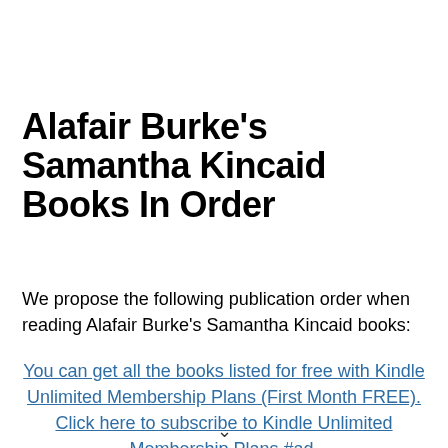Alafair Burke's Samantha Kincaid Books In Order
We propose the following publication order when reading Alafair Burke's Samantha Kincaid books:
You can get all the books listed for free with Kindle Unlimited Membership Plans (First Month FREE). Click here to subscribe to Kindle Unlimited Membership Plans #ad.